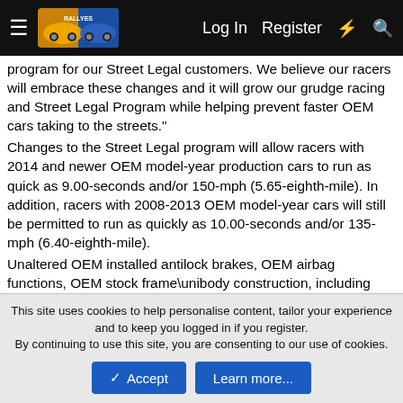≡  [logo]  Log In  Register  ⚡  🔍
program for our Street Legal customers. We believe our racers will embrace these changes and it will grow our grudge racing and Street Legal Program while helping prevent faster OEM cars taking to the streets."
Changes to the Street Legal program will allow racers with 2014 and newer OEM model-year production cars to run as quick as 9.00-seconds and/or 150-mph (5.65-eighth-mile). In addition, racers with 2008-2013 OEM model-year cars will still be permitted to run as quickly as 10.00-seconds and/or 135-mph (6.40-eighth-mile).
Unaltered OEM installed antilock brakes, OEM airbag functions, OEM stock frame\unibody construction, including OEM floors and firewall, as well as all other OEM safety-related systems must be functioning as per manufacturer's specifications. Tires used may be other than OEM, but they must be DOT-approved.
This site uses cookies to help personalise content, tailor your experience and to keep you logged in if you register.
By continuing to use this site, you are consenting to our use of cookies.